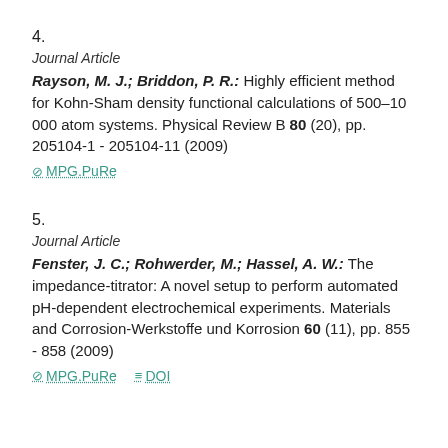4.
Journal Article
Rayson, M. J.; Briddon, P. R.: Highly efficient method for Kohn-Sham density functional calculations of 500–10 000 atom systems. Physical Review B 80 (20), pp. 205104-1 - 205104-11 (2009)
⊘ MPG.PuRe
5.
Journal Article
Fenster, J. C.; Rohwerder, M.; Hassel, A. W.: The impedance-titrator: A novel setup to perform automated pH-dependent electrochemical experiments. Materials and Corrosion-Werkstoffe und Korrosion 60 (11), pp. 855 - 858 (2009)
⊘ MPG.PuRe  ≡ DOI